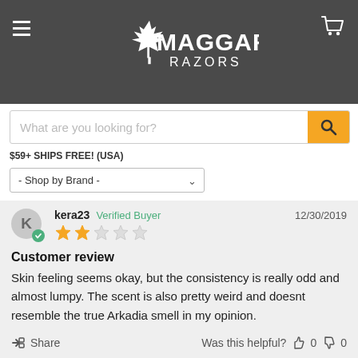[Figure (logo): Maggard Razors logo with maple leaf icon, white text on dark gray background]
What are you looking for?
$59+ SHIPS FREE! (USA)
- Shop by Brand -
kera23  Verified Buyer  12/30/2019  2 out of 5 stars
Customer review
Skin feeling seems okay, but the consistency is really odd and almost lumpy. The scent is also pretty weird and doesnt resemble the true Arkadia smell in my opinion.
Share  Was this helpful?  0  0